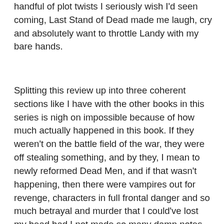handful of plot twists I seriously wish I'd seen coming, Last Stand of Dead made me laugh, cry and absolutely want to throttle Landy with my bare hands.
Splitting this review up into three coherent sections like I have with the other books in this series is nigh on impossible because of how much actually happened in this book. If they weren't on the battle field of the war, they were off stealing something, and by they, I mean to newly reformed Dead Men, and if that wasn't happening, then there were vampires out for revenge, characters in full frontal danger and so much betrayal and murder that I could've lost my head had I not made so many damn notes. As far as plot goes, Last Stand did feel a little more, dispersed and well, vast in comparison to the other books in the series; it would have possibly been better and easier had Landy decided to incorporate more of this plot into the other books in series, maybe planted a few more clues around in order to make this installment a little less hectic, but then, I may have seen some of major plot twists coming a mile off if he had, so I'm a little torn on that front. Twists wise though, I'll be damned, Landy knows how